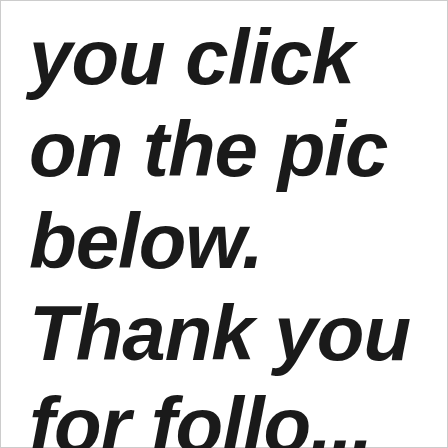you click on the pic below. Thank you for following